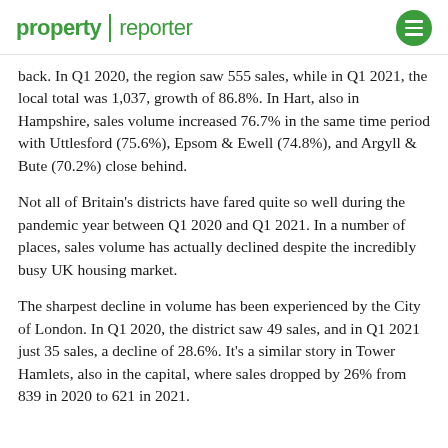property reporter
back. In Q1 2020, the region saw 555 sales, while in Q1 2021, the local total was 1,037, growth of 86.8%. In Hart, also in Hampshire, sales volume increased 76.7% in the same time period with Uttlesford (75.6%), Epsom & Ewell (74.8%), and Argyll & Bute (70.2%) close behind.
Not all of Britain's districts have fared quite so well during the pandemic year between Q1 2020 and Q1 2021. In a number of places, sales volume has actually declined despite the incredibly busy UK housing market.
The sharpest decline in volume has been experienced by the City of London. In Q1 2020, the district saw 49 sales, and in Q1 2021 just 35 sales, a decline of 28.6%. It's a similar story in Tower Hamlets, also in the capital, where sales dropped by 26% from 839 in 2020 to 621 in 2021.